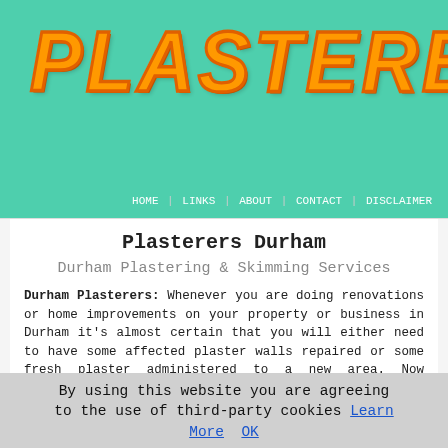[Figure (logo): PLASTERERS logo in large orange brushstroke italic text on teal/mint green background]
HOME | LINKS | ABOUT | CONTACT | DISCLAIMER
Plasterers Durham
Durham Plastering & Skimming Services
Durham Plasterers: Whenever you are doing renovations or home improvements on your property or business in Durham it's almost certain that you will either need to have some affected plaster walls repaired or some fresh plaster administered to a new area. Now plastering is a skillful craft and whilst you might be pretty useful at odd jobs, it's not a thing that you ought to try to do on your own, unless you are confident in your capabilities. This is even more important if there are ceilings that need to be plastered, as you'll most likely get yourself and your
By using this website you are agreeing to the use of third-party cookies Learn More  OK